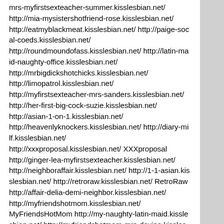mrs-myfirstsexteacher-summer.kisslesbian.net/ http://mia-mysistershotfriend-rose.kisslesbian.net/ http://eatmyblackmeat.kisslesbian.net/ http://paige-socal-coeds.kisslesbian.net/ http://roundmoundofass.kisslesbian.net/ http://latin-maid-naughty-office.kisslesbian.net/ http://mrbigdickshotchicks.kisslesbian.net/ http://limopatrol.kisslesbian.net/ http://myfirstsexteacher-mrs-sanders.kisslesbian.net/ http://her-first-big-cock-suzie.kisslesbian.net/ http://asian-1-on-1.kisslesbian.net/ http://heavenlyknockers.kisslesbian.net/ http://diary-milf.kisslesbian.net/ http://xxxproposal.kisslesbian.net/ XXXproposal http://ginger-lea-myfirstsexteacher.kisslesbian.net/ http://neighboraffair.kisslesbian.net/ http://1-1-asian.kisslesbian.net/ http://retroraw.kisslesbian.net/ RetroRaw http://affair-delia-demi-neighbor.kisslesbian.net/ http://myfriendshotmom.kisslesbian.net/ MyFriendsHotMom http://my-naughty-latin-maid.kisslesbian.net/ http://myfriendshotmom-mrs-devine.kisslesbian.net/ http://myfirstsexteacher-mrs-